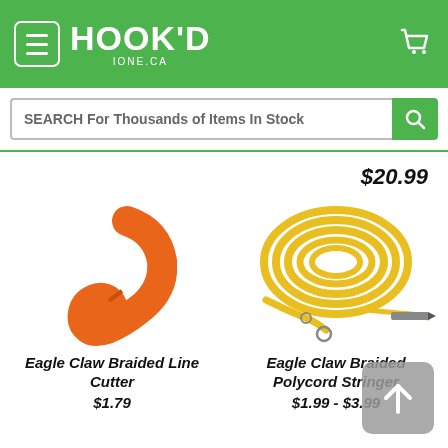HOOK'D IONE.CA
SEARCH For Thousands of Items In Stock
$20.99
[Figure (photo): Orange Eagle Claw Braided Line Cutter product photo]
Eagle Claw Braided Line Cutter
$1.79
[Figure (photo): Yellow Eagle Claw Braided Polycord Stringer product photo with needle and ring]
Eagle Claw Braided Polycord Stringer
$1.99 - $3.99